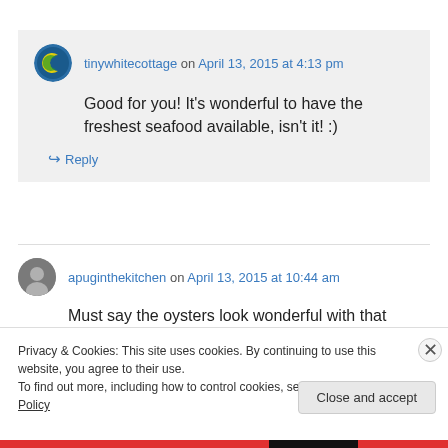tinywhitecottage on April 13, 2015 at 4:13 pm
Good for you! It’s wonderful to have the freshest seafood available, isn’t it! :)
↪ Reply
apuginthekitchen on April 13, 2015 at 10:44 am
Must say the oysters look wonderful with that
Privacy & Cookies: This site uses cookies. By continuing to use this website, you agree to their use.
To find out more, including how to control cookies, see here: Cookie Policy
Close and accept